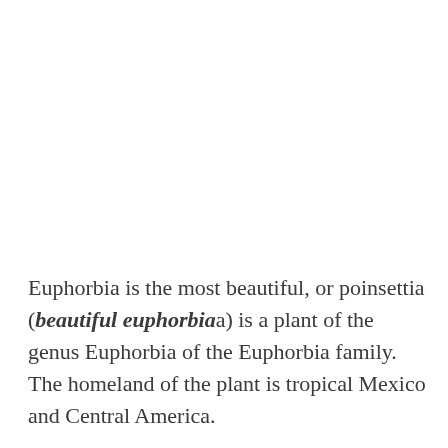Euphorbia is the most beautiful, or poinsettia (beautiful euphorbia) is a plant of the genus Euphorbia of the Euphorbia family. The homeland of the plant is tropical Mexico and Central America.